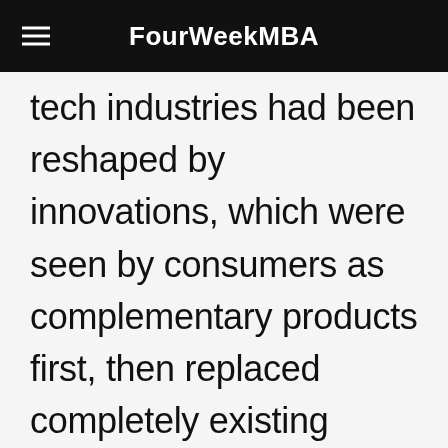FourWeekMBA
tech industries had been reshaped by innovations, which were seen by consumers as complementary products first, then replaced completely existing products.